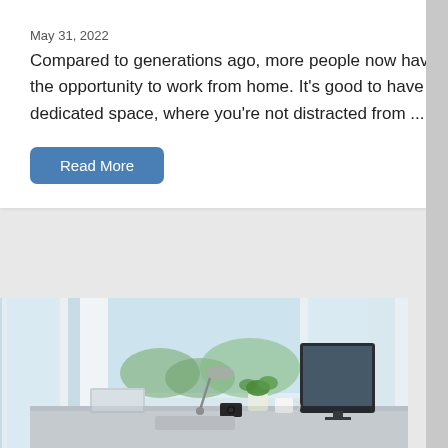May 31, 2022
Compared to generations ago, more people now have the opportunity to work from home. It's good to have a dedicated space, where you're not distracted from ...
Read More
[Figure (photo): Home office desk with a large monitor, laptop, desk lamp, small potted plant, a camera, and a mug, in front of bright windows with curtains and a view of green trees outside.]